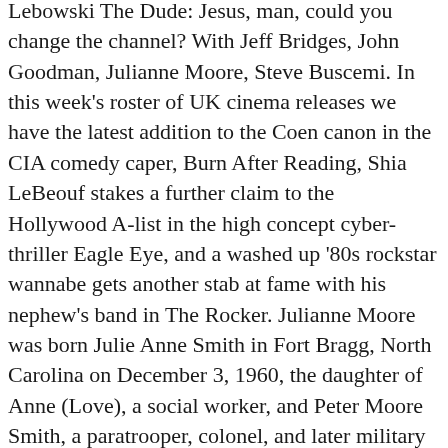Lebowski The Dude: Jesus, man, could you change the channel? With Jeff Bridges, John Goodman, Julianne Moore, Steve Buscemi. In this week's roster of UK cinema releases we have the latest addition to the Coen canon in the CIA comedy caper, Burn After Reading, Shia LeBeouf stakes a further claim to the Hollywood A-list in the high concept cyber-thriller Eagle Eye, and a washed up '80s rockstar wannabe gets another stab at fame with his nephew's band in The Rocker. Julianne Moore was born Julie Anne Smith in Fort Bragg, North Carolina on December 3, 1960, the daughter of Anne (Love), a social worker, and Peter Moore Smith, a paratrooper, colonel, and later military judge. Create. one of a kind movie director, we've never seen or experienced any movies like hi Add Caption. Close Sidebar. JIFFIER GIFS. But what did the UK critics have